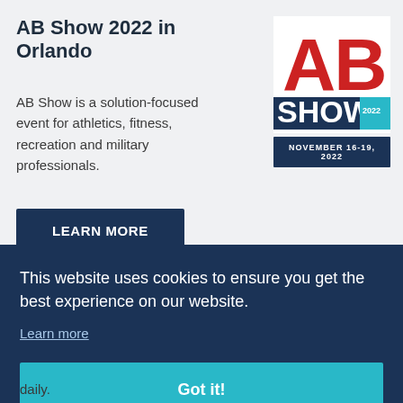AB Show 2022 in Orlando
AB Show is a solution-focused event for athletics, fitness, recreation and military professionals.
LEARN MORE
[Figure (logo): AB Show 2022 logo with red AB letters and blue SHOW 2022 text]
NOVEMBER 16-19, 2022
This website uses cookies to ensure you get the best experience on our website.
Learn more
Got it!
daily.